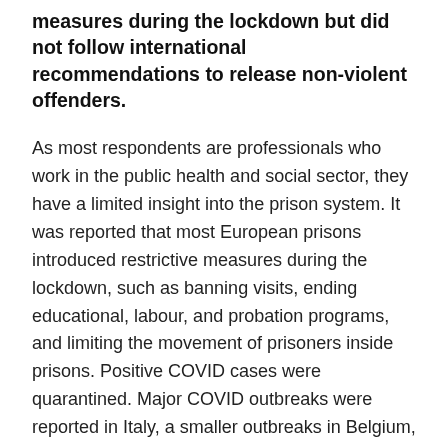measures during the lockdown but did not follow international recommendations to release non-violent offenders.
As most respondents are professionals who work in the public health and social sector, they have a limited insight into the prison system. It was reported that most European prisons introduced restrictive measures during the lockdown, such as banning visits, ending educational, labour, and probation programs, and limiting the movement of prisoners inside prisons. Positive COVID cases were quarantined. Major COVID outbreaks were reported in Italy, a smaller outbreaks in Belgium, Denmark and Hungary.